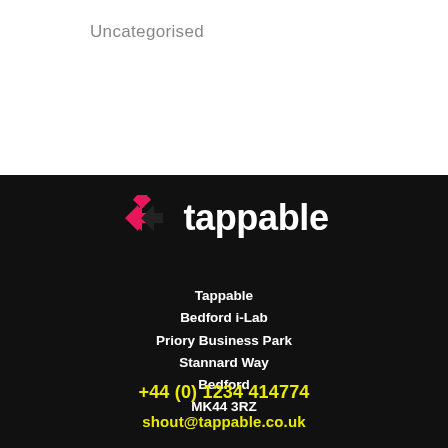Uncategorised
[Figure (logo): Tappable logo: pink diamond/arrow chevron icon followed by the word 'tappable' in bold white sans-serif text]
Tappable
Bedford i-Lab
Priory Business Park
Stannard Way
Bedford
MK44 3RZ
+44 (0) 1234 414774
shout@tappable.co.uk